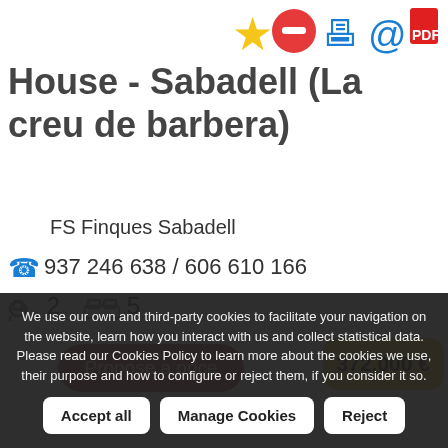House - Sabadell (La creu de barbera)
FS Finques Sabadell
937 246 638 / 606 610 166
2  5
Propose a price
372.000 €
We use our own and third-party cookies to facilitate your navigation on the website, learn how you interact with us and collect statistical data. Please read our Cookies Policy to learn more about the cookies we use, their purpose and how to configure or reject them, if you consider it so.
Accept all
Manage Cookies
Reject
QUESTION?